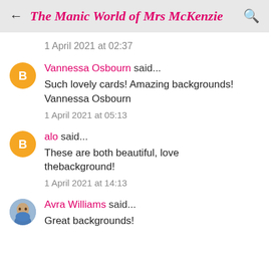The Manic World of Mrs McKenzie
1 April 2021 at 02:37
Vannessa Osbourn said...
Such lovely cards! Amazing backgrounds! Vannessa Osbourn
1 April 2021 at 05:13
alo said...
These are both beautiful, love thebackground!
1 April 2021 at 14:13
Avra Williams said...
Great backgrounds!